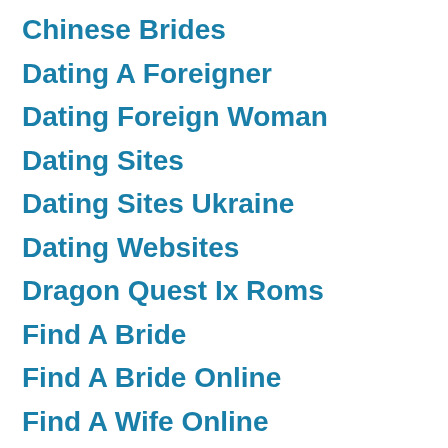Chinese Brides
Dating A Foreigner
Dating Foreign Woman
Dating Sites
Dating Sites Ukraine
Dating Websites
Dragon Quest Ix Roms
Find A Bride
Find A Bride Online
Find A Wife Online
Find Foreign Bride